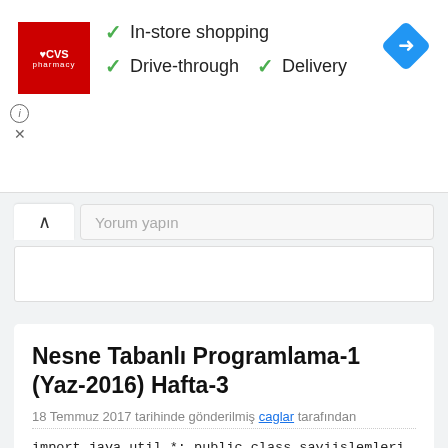[Figure (screenshot): CVS Pharmacy advertisement banner with logo, checkmarks for In-store shopping, Drive-through, and Delivery, and a navigation diamond icon]
Yorum yapın
Nesne Tabanlı Programlama-1 (Yaz-2016) Hafta-3
18 Temmuz 2017 tarihinde gönderilmiş caglar tarafından
import java.util.*; public class sayiislemleri { public sayiislemleri() { boolean durum=true; do{ yaz("::MENU::"); yaz("1) Sayıları Topla"); yaz("2) Asal Bul"); yaz("3)